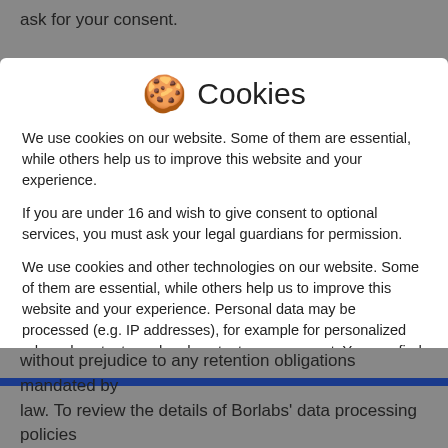ask for your consent.
🍪 Cookies
We use cookies on our website. Some of them are essential, while others help us to improve this website and your experience.
If you are under 16 and wish to give consent to optional services, you must ask your legal guardians for permission.
We use cookies and other technologies on our website. Some of them are essential, while others help us to improve this website and your experience. Personal data may be processed (e.g. IP addresses), for example for personalized ads and content or ad and content measurement. You can find more information about the use of your data in our
Essential
Statistics
External Media
without prejudice to any retention obligations mandated by law. To review the details of Borlabs' data processing policies